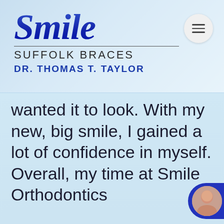[Figure (logo): Smile Suffolk Braces logo with cursive 'Smile' in dark blue, 'SUFFOLK BRACES' in spaced capitals, and 'DR. THOMAS T. TAYLOR' in bold blue]
wanted it to look. With my new, big smile, I gained a lot of confidence in myself. Overall, my time at Smile Orthodontics